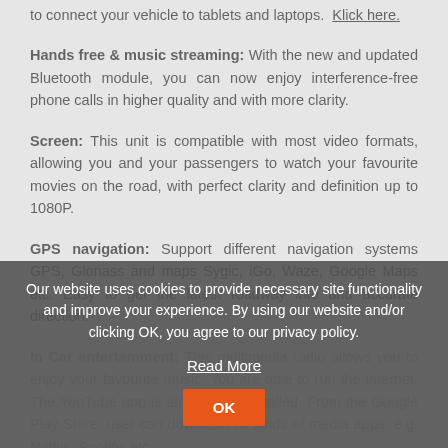to connect your vehicle to tablets and laptops. Klick here.
Hands free & music streaming: With the new and updated Bluetooth module, you can now enjoy interference-free phone calls in higher quality and with more clarity.
Screen: This unit is compatible with most video formats, allowing you and your passengers to watch your favourite movies on the road, with perfect clarity and definition up to 1080P.
GPS navigation: Support different navigation systems GPS, Glonass and maps Sygic, iGo, Waze, Google Maps etc. Easy to get the latest roadway info and accurate direction.
In Car entertainment: This multimedia radio allows you to enjoy your favourite music. You are able to run the internet. The YouTube app is already pre-installed. From the Google Play Store, user can download all kinds of media apps, e.g. Netflix, Spotify, etc.
Our website uses cookies to provide necessary site functionality and improve your experience. By using our website and/or clicking OK, you agree to our privacy policy. Read More